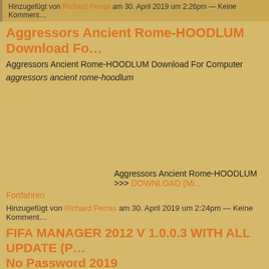Hinzugefügt von Richard Perras am 30. April 2019 um 2:26pm — Keine Komment...
Aggressors Ancient Rome-HOODLUM Download For...
Aggressors Ancient Rome-HOODLUM Download For Computer
aggressors ancient rome-hoodlum
Aggressors Ancient Rome-HOODLUM >>> DOWNLOAD (Mi... Fortfahren
Hinzugefügt von Richard Perras am 30. April 2019 um 2:24pm — Keine Komment...
FIFA MANAGER 2012 V 1.0.0.3 WITH ALL UPDATE (P... No Password 2019
FIFA MANAGER 2012 V 1.0.0.3 WITH ALL UPDATE (PC) No Survey No P...
fifa manager update 2018, fifa manager update 2017, fifa manager updates... update database, fifa manager 14 update 2017, fifa manager 14 update 20... update 2017, fifa manager 14 update database, fifa manager 11 update, fif... update 4…